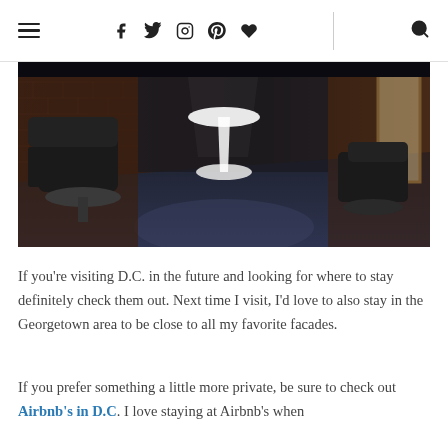≡ | f  t  ⊙  ⊕  ♥ | 🔍
[Figure (photo): Interior photo of a restaurant or lounge with dark chairs, a white tulip-style table base, and brick walls with a window on the right side. Dark polished floor reflects overhead lighting.]
If you're visiting D.C. in the future and looking for where to stay definitely check them out. Next time I visit, I'd love to also stay in the Georgetown area to be close to all my favorite facades.
If you prefer something a little more private, be sure to check out Airbnb's in D.C. I love staying at Airbnb's when